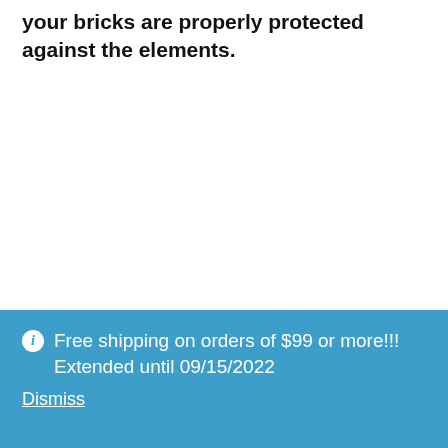your bricks are properly protected against the elements.
Free shipping on orders of $99 or more!!! Extended until 09/15/2022
Dismiss